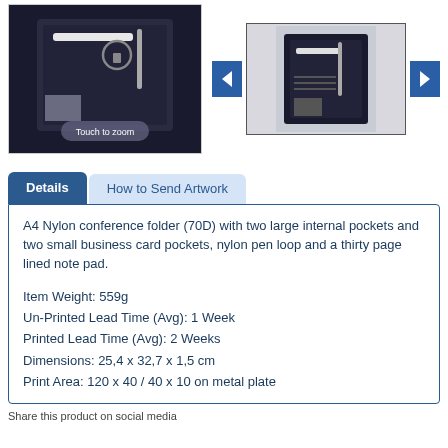[Figure (photo): Main product image of A4 Nylon conference folder shown open, with 'Touch to zoom' overlay button]
[Figure (photo): Thumbnail gallery image of A4 Nylon conference folder with left and right navigation arrows]
Details | How to Send Artwork
A4 Nylon conference folder (70D) with two large internal pockets and two small business card pockets, nylon pen loop and a thirty page lined note pad.
Item Weight: 559g
Un-Printed Lead Time (Avg): 1 Week
Printed Lead Time (Avg): 2 Weeks
Dimensions: 25,4 x 32,7 x 1,5 cm
Print Area: 120 x 40 / 40 x 10 on metal plate
Share this product on social media